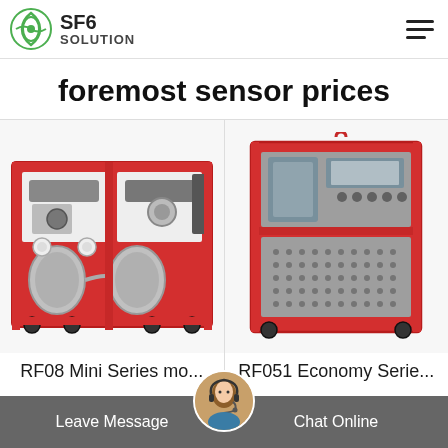SF6 SOLUTION
foremost sensor prices
[Figure (photo): RF08 Mini Series mobile SF6 gas recovery unit on red frame with wheels, gauges and cylinders]
RF08 Mini Series mo...
[Figure (photo): RF051 Economy Series SF6 gas handling unit in red and grey cabinet on wheels with control panel]
RF051 Economy Serie...
Leave Message   Chat Online